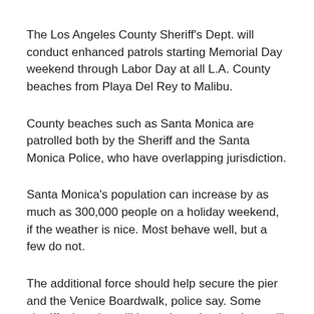The Los Angeles County Sheriff's Dept. will conduct enhanced patrols starting Memorial Day weekend through Labor Day at all L.A. County beaches from Playa Del Rey to Malibu.
County beaches such as Santa Monica are patrolled both by the Sheriff and the Santa Monica Police, who have overlapping jurisdiction.
Santa Monica's population can increase by as much as 300,000 people on a holiday weekend, if the weather is nice. Most behave well, but a few do not.
The additional force should help secure the pier and the Venice Boardwalk, police say. Some sheriffs deputies will be on horseback; others will specialize in the homeless.